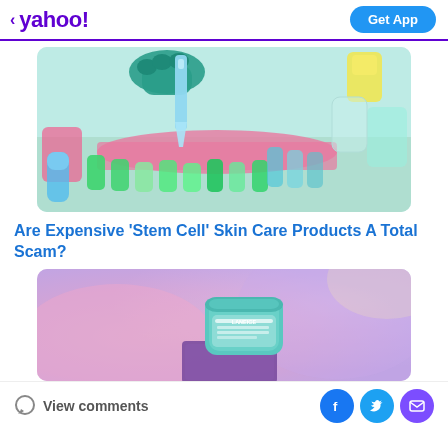< yahoo! | Get App
[Figure (photo): Laboratory scene with colorful test tubes and a pipette dispensing liquid into a sample tray. Green, blue, pink, yellow and clear vials visible.]
Are Expensive 'Stem Cell' Skin Care Products A Total Scam?
[Figure (photo): Laneige skincare product (teal/mint colored jar) on a colorful pastel pink and purple watercolor background with a purple box partially visible.]
View comments | [Facebook] [Twitter] [Mail]